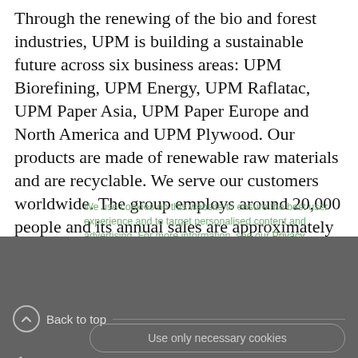Through the renewing of the bio and forest industries, UPM is building a sustainable future across six business areas: UPM Biorefining, UPM Energy, UPM Raflatac, UPM Paper Asia, UPM Paper Europe and North America and UPM Plywood. Our products are made of renewable raw materials and are recyclable. We serve our customers worldwide. The group employs around 20,000 people and its annual sales are approximately EUR 10 billion. UPM shares are listed on NASDAQ OMX Helsinki. UPM - The Biofore Company - www.upm.com
We use cookies on this website to ensure the best user experience and to target personalised content and advertising. For more information, see our Privacy Policy.
Allow all
Back to top
Use only necessary cookies
Products & Services
Knowledge & Inspiration